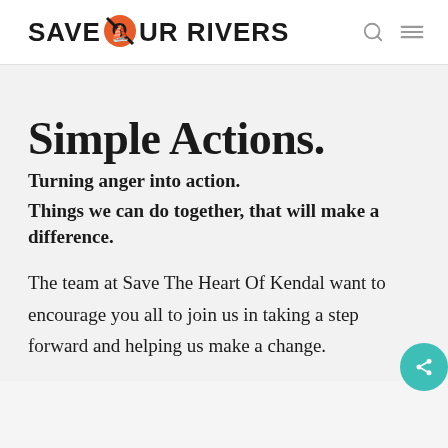SAVE OUR RIVERS
Simple Actions.
Turning anger into action.
Things we can do together, that will make a difference.
The team at Save The Heart Of Kendal want to encourage you all to join us in taking a step forward and helping us make a change.